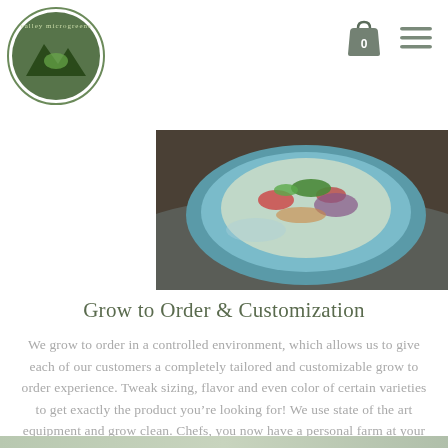Valley Microgreens logo and navigation icons
[Figure (photo): Close-up photo of a colorful salad bowl on a teal/blue plate, shot from above on a dark background]
Grow to Order & Customization
We grow to order in a controlled environment, which allows us to give each of our customers a completely tailored and customizable grow to order experience. Tweak sizing, flavor and even color of certain varieties to get exactly the product you’re looking for! We use state of the art equipment and grow clean. Chefs, you now have a personal farm at your fingertips!